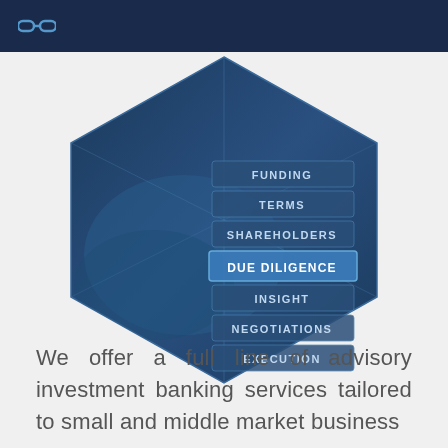[Figure (infographic): A hexagonal 3D diagram with a blue background showing a hand shaking on a deal. Inside the hexagon are stacked label tabs listing: FUNDING, TERMS, SHAREHOLDERS, DUE DILIGENCE (highlighted/bold), INSIGHT, NEGOTIATIONS, EXECUTION]
We offer a full line of advisory investment banking services tailored to small and middle market business